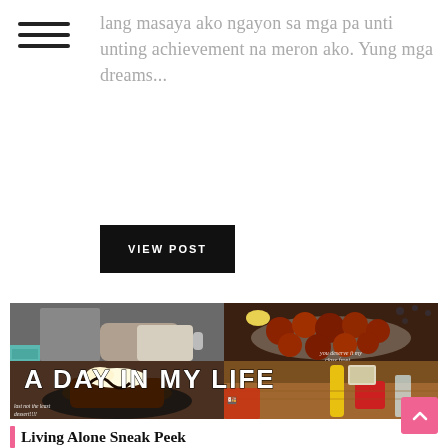lang masaya ako ngayon sa mga pa unti unting achievement na meron ako. Yung mga dreams...
VIEW POST
[Figure (photo): A collage of four food and lifestyle photos with the text 'A DAY IN MY LIFE' overlaid in bold white letters. Top-left: a person holding a coffee mug. Top-right: glazed chicken/meat dish. Bottom-left: a chocolate dessert on a plate with text 'last not the least dessert!!!'. Bottom-right: a restaurant table scene.]
Living Alone Sneak Peek